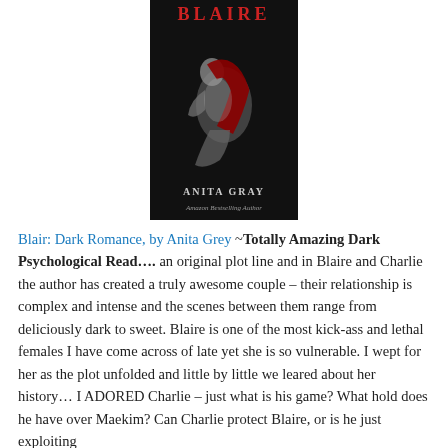[Figure (illustration): Book cover for 'Blaire' by Anita Gray, Amazon Bestselling Author. Dark cover showing a curled female figure in black and white with red hair element.]
Blair: Dark Romance, by Anita Grey ~Totally Amazing Dark Psychological Read…. an original plot line and in Blaire and Charlie the author has created a truly awesome couple – their relationship is complex and intense and the scenes between them range from deliciously dark to sweet. Blaire is one of the most kick-ass and lethal females I have come across of late yet she is so vulnerable. I wept for her as the plot unfolded and little by little we leared about her history… I ADORED Charlie – just what is his game? What hold does he have over Maekim? Can Charlie protect Blaire, or is he just exploiting